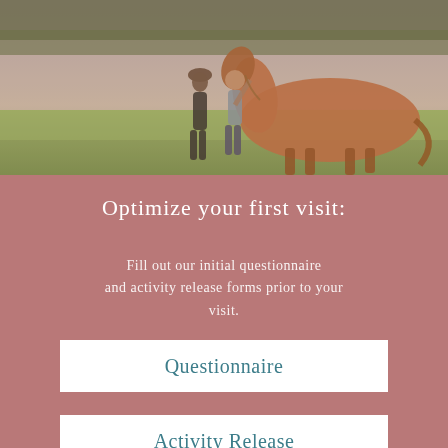[Figure (photo): Two people standing next to a brown horse in a green field with trees in the background]
Optimize your first visit:
Fill out our initial questionnaire and activity release forms prior to your visit.
Questionnaire
Activity Release